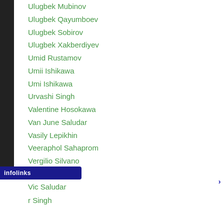Ulugbek Mubinov
Ulugbek Qayumboev
Ulugbek Sobirov
Ulugbek Xakberdiyev
Umid Rustamov
Umii Ishikawa
Umi Ishikawa
Urvashi Singh
Valentine Hosokawa
Van June Saludar
Vasily Lepikhin
Veeraphol Sahaprom
Vergilio Silvano
Vergil Puton
Vic Saludar
Vikr Singh
[Figure (screenshot): Infolinks advertisement bar with Frontgate outdoor furniture and bedding ad showing 25% off sitewide sale]